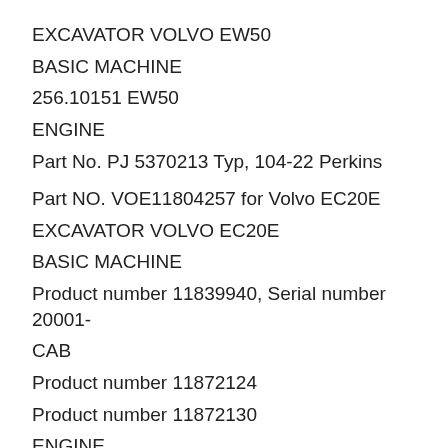EXCAVATOR VOLVO EW50
BASIC MACHINE
256.10151 EW50
ENGINE
Part No. PJ 5370213 Typ, 104-22 Perkins
Part NO. VOE11804257 for Volvo EC20E
EXCAVATOR VOLVO EC20E
BASIC MACHINE
Product number 11839940, Serial number 20001-
CAB
Product number 11872124
Product number 11872130
ENGINE
Part number 15705402, D0.9A ST V